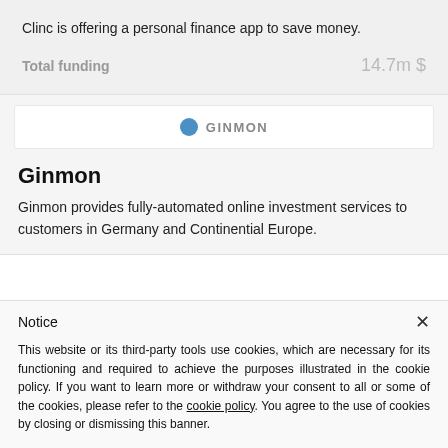Clinc is offering a personal finance app to save money.
Total funding    14.7m $
[Figure (logo): Ginmon logo with blue circle icon and GINMON text in grey uppercase letters]
Ginmon
Ginmon provides fully-automated online investment services to customers in Germany and Continential Europe.
Notice
This website or its third-party tools use cookies, which are necessary for its functioning and required to achieve the purposes illustrated in the cookie policy. If you want to learn more or withdraw your consent to all or some of the cookies, please refer to the cookie policy. You agree to the use of cookies by closing or dismissing this banner.